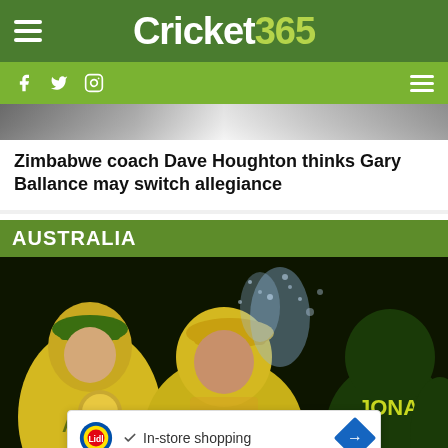Cricket 365
Zimbabwe coach Dave Houghton thinks Gary Ballance may switch allegiance
AUSTRALIA
[Figure (photo): Australian women cricket players in yellow uniforms celebrating with trophy, being sprayed with water/champagne. One player wears JONAS jersey.]
In-store shopping